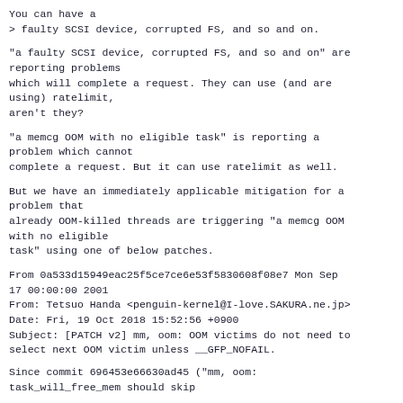You can have a
> faulty SCSI device, corrupted FS, and so and on.
"a faulty SCSI device, corrupted FS, and so and on" are
reporting problems
which will complete a request. They can use (and are
using) ratelimit,
aren't they?
"a memcg OOM with no eligible task" is reporting a
problem which cannot
complete a request. But it can use ratelimit as well.
But we have an immediately applicable mitigation for a
problem that
already OOM-killed threads are triggering "a memcg OOM
with no eligible
task" using one of below patches.
From 0a533d15949eac25f5ce7ce6e53f5830608f08e7 Mon Sep
17 00:00:00 2001
From: Tetsuo Handa <penguin-kernel@I-love.SAKURA.ne.jp>
Date: Fri, 19 Oct 2018 15:52:56 +0900
Subject: [PATCH v2] mm, oom: OOM victims do not need to
select next OOM victim unless __GFP_NOFAIL.
Since commit 696453e66630ad45 ("mm, oom:
task_will_free_mem should skip